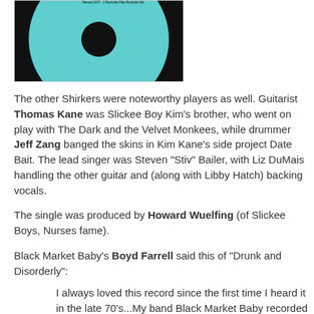[Figure (photo): Partial view of a vinyl record with a teal/turquoise label showing text including 'THE SHIRKERS', '© 1979 Hype Music', and a Rockville Pike address]
The other Shirkers were noteworthy players as well. Guitarist Thomas Kane was Slickee Boy Kim's brother, who went on play with The Dark and the Velvet Monkees, while drummer Jeff Zang banged the skins in Kim Kane's side project Date Bait. The lead singer was Steven "Stiv" Bailer, with Liz DuMais handling the other guitar and (along with Libby Hatch) backing vocals.
The single was produced by Howard Wuelfing (of Slickee Boys, Nurses fame).
Black Market Baby's Boyd Farrell said this of "Drunk and Disorderly":
I always loved this record since the first time I heard it in the late 70's...My band Black Market Baby recorded and released a 7" version of it in 1986 on the very same label (Limp records)… The Shirkers were a real treat for the underground...